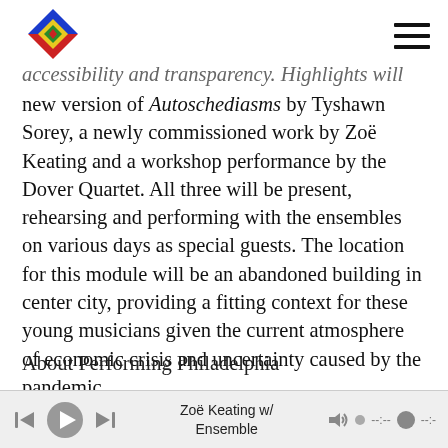[Figure (logo): Diamond-shaped logo with blue, yellow, red, green triangles forming a geometric pattern]
accessibility and transparency. Highlights will be a new version of Autoschediasms by Tyshawn Sorey, a newly commissioned work by Zoë Keating and a workshop performance by the Dover Quartet. All three will be present, rehearsing and performing with the ensembles on various days as special guests. The location for this module will be an abandoned building in center city, providing a fitting context for these young musicians given the current atmosphere of economic crisis and uncertainty caused by the pandemic.
About Performing Philadelphia
Zoë Keating w/ Ensemble